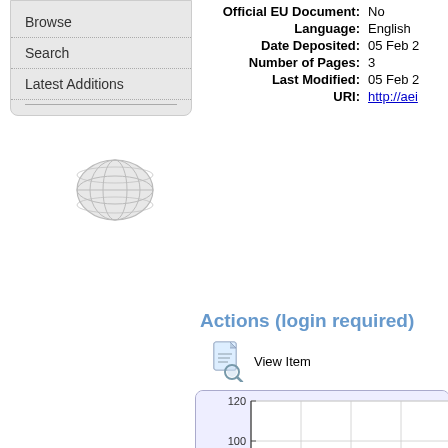Browse
Search
Latest Additions
Official EU Document: No
Language: English
Date Deposited: 05 Feb 2...
Number of Pages: 3
Last Modified: 05 Feb 2...
URI: http://aei...
Actions (login required)
View Item
[Figure (continuous-plot): Fulltext Downloads chart with y-axis labeled 'Fulltext Downloads' showing values from 20 to 120, gridlines visible, partially cut off at bottom of page]